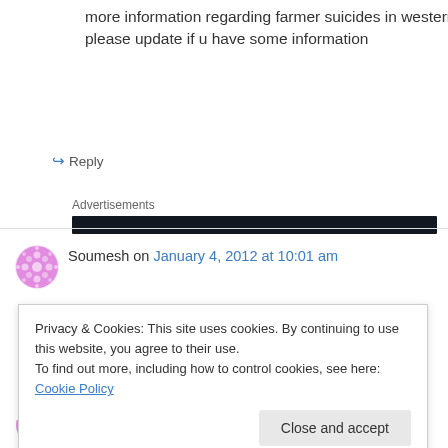more information regarding farmer suicides in western orissa…please update if u have some information
↪ Reply
Advertisements
Soumesh on January 4, 2012 at 10:01 am
Good work sir. This is will help to develop
Privacy & Cookies: This site uses cookies. By continuing to use this website, you agree to their use.
To find out more, including how to control cookies, see here: Cookie Policy
Close and accept